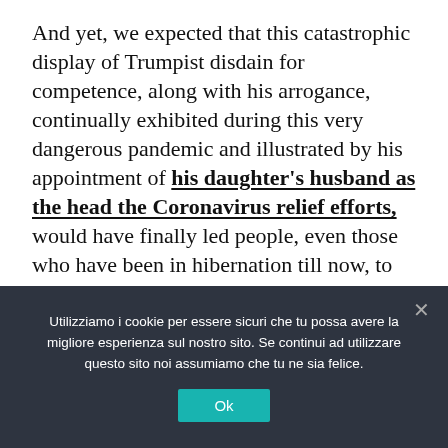And yet, we expected that this catastrophic display of Trumpist disdain for competence, along with his arrogance, continually exhibited during this very dangerous pandemic and illustrated by his appointment of his daughter's husband as the head the Coronavirus relief efforts, would have finally led people, even those who have been in hibernation till now, to see that “the emperor  truly was naked.” Nothing, not even a mortal danger such as this pandemic, seems to be able to resuscitate the
Utilizziamo i cookie per essere sicuri che tu possa avere la migliore esperienza sul nostro sito. Se continui ad utilizzare questo sito noi assumiamo che tu ne sia felice.